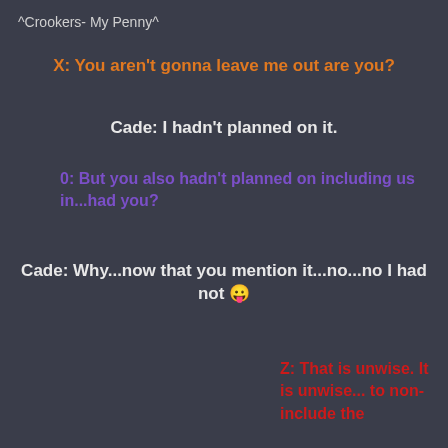^Crookers- My Penny^
X: You aren't gonna leave me out are you?
Cade: I hadn't planned on it.
0: But you also hadn't planned on including us in...had you?
Cade: Why...now that you mention it...no...no I had not 😛
Z: That is unwise. It is unwise... to non-include the